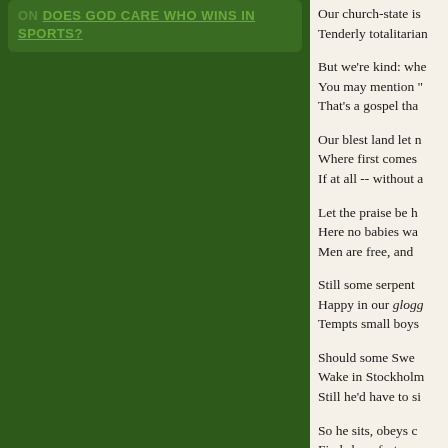ON DOES GOD CARE WHO WINS IN SPORTS?
Our church-state is Tenderly totalitarian
But we're kind: whe You may mention " That's a gospel tha
Our blest land let n Where first comes If at all -- without a
Let the praise be h Here no babies wa Men are free, and
Still some serpent Happy in our glogg Tempts small boys
Should some Swe Wake in Stockholm Still he'd have to si
So he sits, obeys c Finds how fast we Confiscate his fam